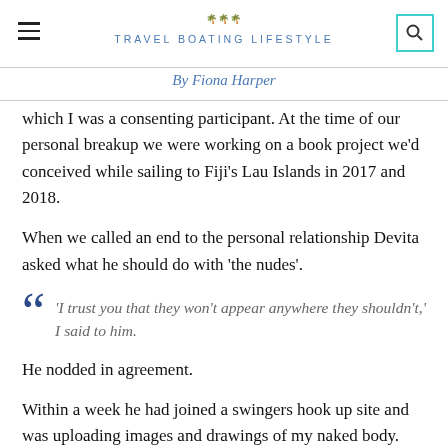TRAVEL BOATING LIFESTYLE
By Fiona Harper
which I was a consenting participant. At the time of our personal breakup we were working on a book project we'd conceived while sailing to Fiji's Lau Islands in 2017 and 2018.
When we called an end to the personal relationship Devita asked what he should do with 'the nudes'.
'I trust you that they won't appear anywhere they shouldn't,' I said to him.
He nodded in agreement.
Within a week he had joined a swingers hook up site and was uploading images and drawings of my naked body. Though it would be another two weeks before I discovered this.